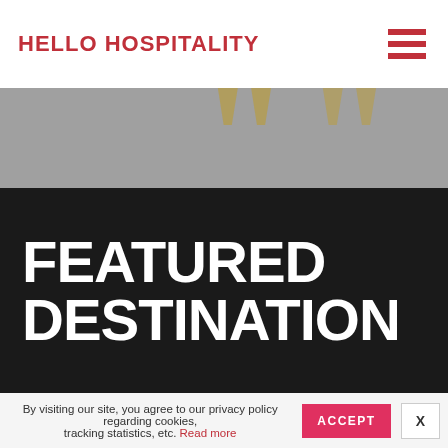HELLO HOSPITALITY
[Figure (illustration): Grey background hero image area with large golden quotation marks visible]
FEATURED DESTINATION
By visiting our site, you agree to our privacy policy regarding cookies, tracking statistics, etc. Read more  ACCEPT  X